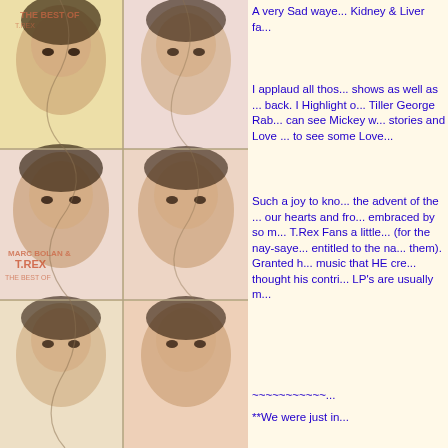[Figure (photo): Tiled album cover art for Marc Bolan & T.Rex 'The Best of' shown in a 2x3 grid on the left side of the page, with warm cream/yellow tones and faded portraits]
A very Sad waye... Kidney & Liver fa...
I applaud all thos... shows as well as ... back. I Highlight o... Tiller George Rab... can see Mickey w... stories and Love ... to see some Love...
Such a joy to kno... the advent of the ... our hearts and fro... embraced by so m... T.Rex Fans a little... (for the nay-saye... entitled to the na... them). Granted h... music that HE cre... thought his contri... LP's are usually m...
~~~~~~~~~~~...
**We were just in...